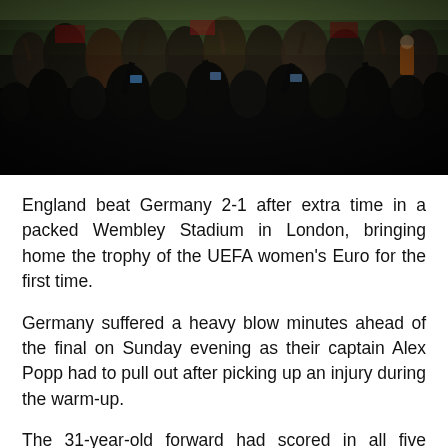[Figure (photo): Crowd of football fans at a stadium, dark atmospheric image with silhouettes of fans cheering, flags and banners visible, stadium pitch visible in background]
England beat Germany 2-1 after extra time in a packed Wembley Stadium in London, bringing home the trophy of the UEFA women's Euro for the first time.
Germany suffered a heavy blow minutes ahead of the final on Sunday evening as their captain Alex Popp had to pull out after picking up an injury during the warm-up.
The 31-year-old forward had scored in all five previous matches in this tournament and scored twice in Germany's 2-1 win against France in Wednesday's semifinal, reports Xinhua. England, reaching the Euro's